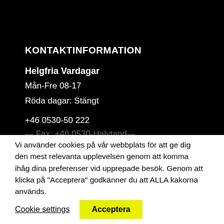KONTAKTINFORMATION
Helgfria Vardagar
Mån-Fre 08-17
Röda dagar: Stängt
+46 0530-50 222
Vi använder cookies på vår webbplats för att ge dig den mest relevanta upplevelsen genom att komma ihåg dina preferenser vid upprepade besök. Genom att klicka på "Acceptera" godkänner du att ALLA kakorna används.
Cookie settings
Acceptera